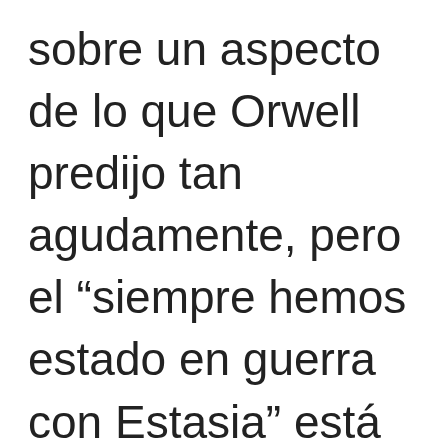sobre un aspecto de lo que Orwell predijo tan agudamente, pero el “siempre hemos estado en guerra con Estasia” está